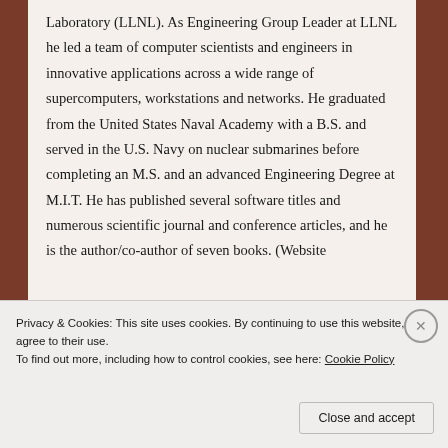Laboratory (LLNL). As Engineering Group Leader at LLNL he led a team of computer scientists and engineers in innovative applications across a wide range of supercomputers, workstations and networks. He graduated from the United States Naval Academy with a B.S. and served in the U.S. Navy on nuclear submarines before completing an M.S. and an advanced Engineering Degree at M.I.T. He has published several software titles and numerous scientific journal and conference articles, and he is the author/co-author of seven books. (Website
Privacy & Cookies: This site uses cookies. By continuing to use this website, you agree to their use.
To find out more, including how to control cookies, see here: Cookie Policy